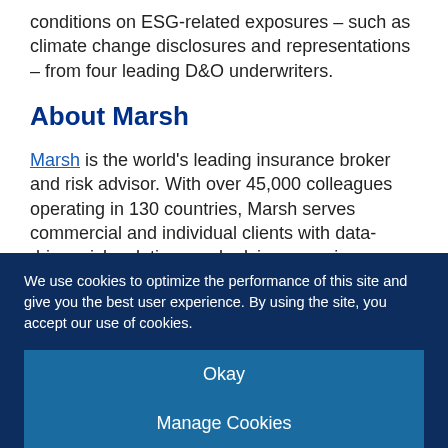conditions on ESG-related exposures – such as climate change disclosures and representations – from four leading D&O underwriters.
About Marsh
Marsh is the world's leading insurance broker and risk advisor. With over 45,000 colleagues operating in 130 countries, Marsh serves commercial and individual clients with data-driven risk solutions and advisory services. Marsh is a
We use cookies to optimize the performance of this site and give you the best user experience. By using the site, you accept our use of cookies.
Okay
Manage Cookies